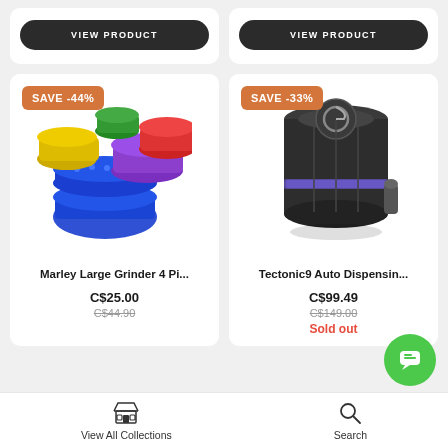[Figure (screenshot): Two 'VIEW PRODUCT' dark pill buttons inside white rounded card stubs]
[Figure (photo): Colorful herb grinder set — multiple grinders in blue, purple, red, yellow, green shown open and closed]
SAVE -44%
Marley Large Grinder 4 Pi...
C$25.00
C$44.90
[Figure (photo): Tectonic9 auto-dispensing herb grinder — dark cylindrical metal grinder with blue LED ring and brand logo on top]
SAVE -33%
Tectonic9 Auto Dispensin...
C$99.49
C$149.00
Sold out
View All Collections   Search